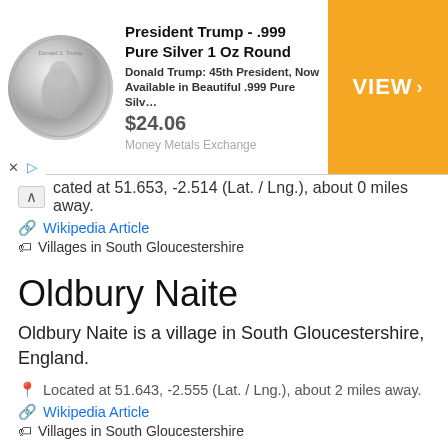[Figure (screenshot): Advertisement banner for President Trump .999 Pure Silver 1 Oz Round coin, priced at $24.06, with VIEW button, from Money Metals Exchange]
cated at 51.653, -2.514 (Lat. / Lng.), about 0 miles away.
Wikipedia Article
Villages in South Gloucestershire
Oldbury Naite
Oldbury Naite is a village in South Gloucestershire, England.
Located at 51.643, -2.555 (Lat. / Lng.), about 2 miles away.
Wikipedia Article
Villages in South Gloucestershire
Thornbury Hoard
The Thornbury Hoard is a hoard of 11,460 silver Roman coins, mainly radiates and nummi, dating from 260 to 348